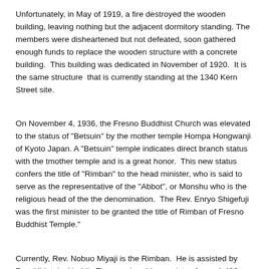Unfortunately, in May of 1919, a fire destroyed the wooden building, leaving nothing but the adjacent dormitory standing. The members were disheartened but not defeated, soon gathered enough funds to replace the wooden structure with a concrete building.  This building was dedicated in November of 1920.  It is the same structure  that is currently standing at the 1340 Kern Street site.
On November 4, 1936, the Fresno Buddhist Church was elevated to the status of "Betsuin" by the mother temple Hompa Hongwanji of Kyoto Japan. A "Betsuin" temple indicates direct branch status with the tmother temple and is a great honor.  This new status confers the title of "Rimban" to the head minister, who is said to serve as the representative of the "Abbot", or Monshu who is the religious head of the the denomination.  The Rev. Enryo Shigefuji was the first minister to be granted the title of Rimban of Fresno Buddhist Temple."
Currently, Rev. Nobuo Miyaji is the Rimban.  He is assisted by Rev. Hidetaka Yoshii.  The membership consists of over 1,400 people stretching around the San Joaquin Valley. http://www.fresnobuddhisttemple.org/
Currently the group meets in North Clovis.at the